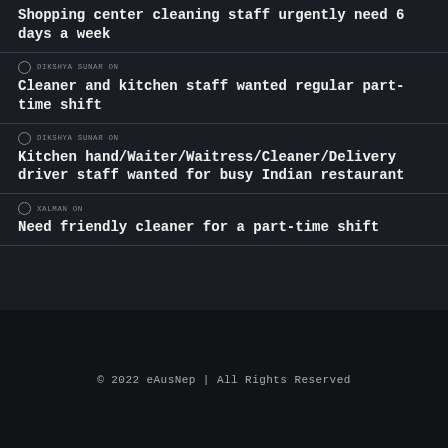Shopping center cleaning staff urgently need 6 days a week
DIKSHYA SUNAR on
Cleaner and kitchen staff wanted regular part-time shift
DIKSHYA SUNAR on
Kitchen hand/Waiter/Waitress/Cleaner/Delivery driver staff wanted for busy Indian restaurant
XALMAN on
Need friendly cleaner for a part-time shift
© 2022 eAusNep | All Rights Reserved